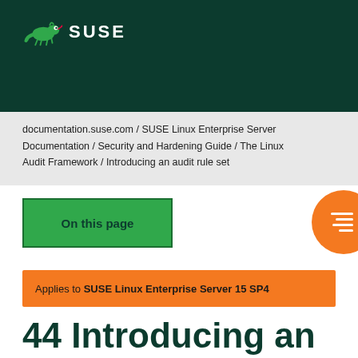[Figure (logo): SUSE logo with chameleon icon and SUSE text on dark green background]
documentation.suse.com / SUSE Linux Enterprise Server Documentation / Security and Hardening Guide / The Linux Audit Framework / Introducing an audit rule set
On this page
Applies to SUSE Linux Enterprise Server 15 SP4
44 Introducing an audit rule set